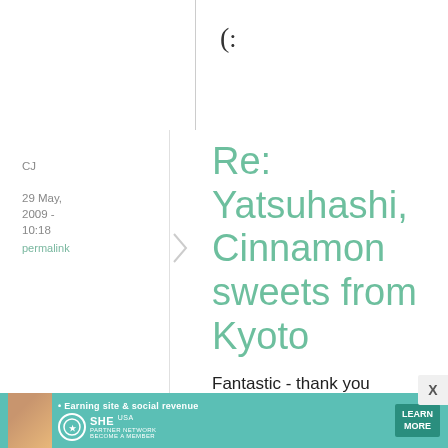(:
CJ
29 May, 2009 - 10:18
permalink
Re: Yatsuhashi, Cinnamon sweets from Kyoto
Fantastic - thank you so much for this great post. I've been trying to
[Figure (infographic): Advertisement banner for SHE Partner Network with teal background, woman photo, bullet text 'Earning site & social revenue', SHE logo, LEARN MORE button]